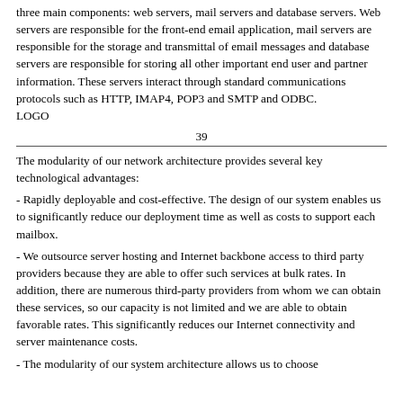three main components: web servers, mail servers and database servers. Web servers are responsible for the front-end email application, mail servers are responsible for the storage and transmittal of email messages and database servers are responsible for storing all other important end user and partner information. These servers interact through standard communications protocols such as HTTP, IMAP4, POP3 and SMTP and ODBC.
LOGO
39
The modularity of our network architecture provides several key technological advantages:
- Rapidly deployable and cost-effective. The design of our system enables us to significantly reduce our deployment time as well as costs to support each mailbox.
- We outsource server hosting and Internet backbone access to third party providers because they are able to offer such services at bulk rates. In addition, there are numerous third-party providers from whom we can obtain these services, so our capacity is not limited and we are able to obtain favorable rates. This significantly reduces our Internet connectivity and server maintenance costs.
- The modularity of our system architecture allows us to choose